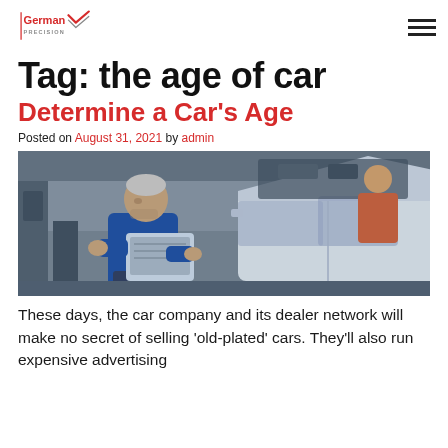German Precision
Tag: the age of car
Determine a Car's Age
Posted on August 31, 2021 by admin
[Figure (photo): A mechanic in a blue work jacket holding a laptop/diagnostic tablet in an auto repair shop, with a white car with open hood visible in the background]
These days, the car company and its dealer network will make no secret of selling 'old-plated' cars. They'll also run expensive advertising